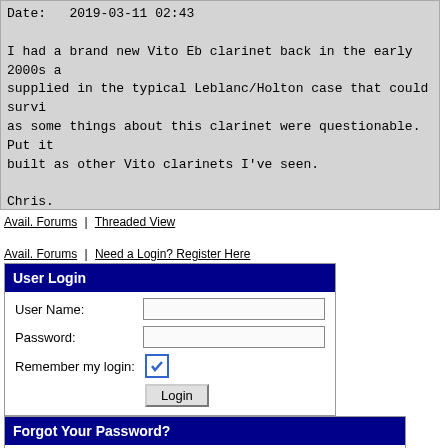Date:   2019-03-11 02:43

I had a brand new Vito Eb clarinet back in the early 2000s a supplied in the typical Leblanc/Holton case that could survi as some things about this clarinet were questionable. Put it built as other Vito clarinets I've seen.

Chris.
Avail. Forums | Threaded View
Avail. Forums | Need a Login? Register Here
User Login
User Name:
Password:
Remember my login:
Login
Forgot Your Password?
Enter your email address or user name below and a new password will be sent to the email address associated with your profile.
Submit
Copyright © Woodwind.Org, Inc. All Rights Reserved   Privacy Policy   Contact